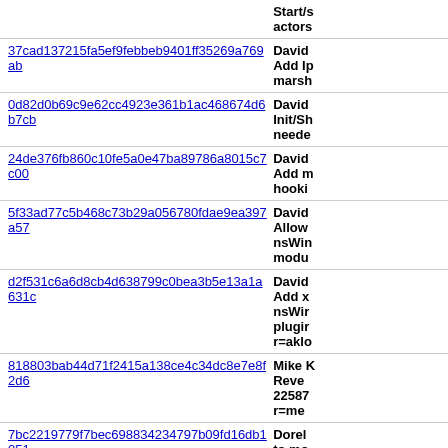| Commit | Author / Description |
| --- | --- |
| (top border) | Start/s actors |
| 37cad137215fa5ef9febbeb9401ff35269a769ab | David
Add Ip
marsh |
| 0d82d0b69c9e62cc4923e361b1ac468674d6b7cb | David
Init/Sh
neede |
| 24de376fb860c10fe5a0e47ba89786a8015c7c00 | David
Add m
hooki |
| 5f33ad77c5b468c73b29a056780fdae9ea397a57 | David
Allow
nsWin
modu |
| d2f531c6a6d8cb4d638799c0bea3b5e13a1a631c | David
Add x
nsWir
plugir
r=aklo |
| 818803bab44d71f2415a138ce4c34dc8e7e8f2d6 | Mike K
Revert
22587
r=me |
| 7bc2219779f7bec698834234797b09fd16db1051 | Dorel
to mo |
| cdfc5335df1578bea4c58533913b9ba41421634c | Coroi
centra |
| 7d9ba3d649624ea9ab78fed37c2d5686135ea640 | Chris |